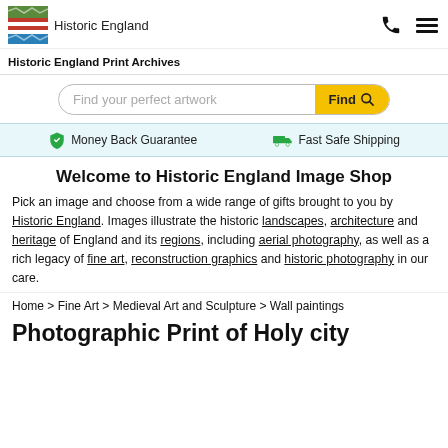[Figure (logo): Historic England logo with colored wave bands (green, red, blue) and text 'Historic England']
Historic England Print Archives
Find your perfect artwork [Find button]
Money Back Guarantee   Fast Safe Shipping
Welcome to Historic England Image Shop
Pick an image and choose from a wide range of gifts brought to you by Historic England. Images illustrate the historic landscapes, architecture and heritage of England and its regions, including aerial photography, as well as a rich legacy of fine art, reconstruction graphics and historic photography in our care.
Home > Fine Art > Medieval Art and Sculpture > Wall paintings
Photographic Print of Holy city